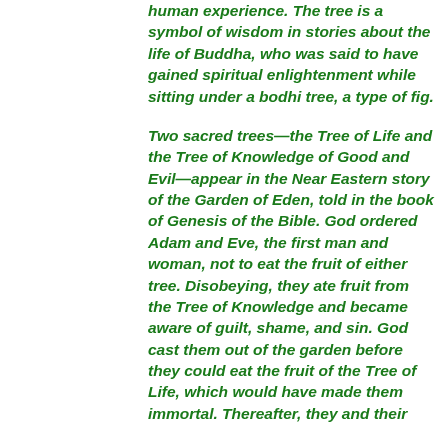human experience. The tree is a symbol of wisdom in stories about the life of Buddha, who was said to have gained spiritual enlightenment while sitting under a bodhi tree, a type of fig.
Two sacred trees—the Tree of Life and the Tree of Knowledge of Good and Evil—appear in the Near Eastern story of the Garden of Eden, told in the book of Genesis of the Bible. God ordered Adam and Eve, the first man and woman, not to eat the fruit of either tree. Disobeying, they ate fruit from the Tree of Knowledge and became aware of guilt, shame, and sin. God cast them out of the garden before they could eat the fruit of the Tree of Life, which would have made them immortal. Thereafter, they and their